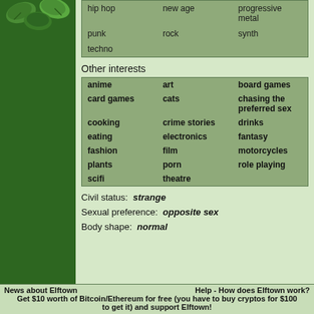| col1 | col2 | col3 |
| --- | --- | --- |
| hip hop | new age | progressive metal |
| punk | rock | synth |
| techno |  |  |
Other interests
| col1 | col2 | col3 |
| --- | --- | --- |
| anime | art | board games |
| card games | cats | chasing the preferred sex |
| cooking | crime stories | drinks |
| eating | electronics | fantasy |
| fashion | film | motorcycles |
| plants | porn | role playing |
| scifi | theatre |  |
Civil status:  strange
Sexual preference:  opposite sex
Body shape:  normal
News about Elftown
Help - How does Elftown work?
Get $10 worth of Bitcoin/Ethereum for free (you have to buy cryptos for $100
to get it) and support Elftown!